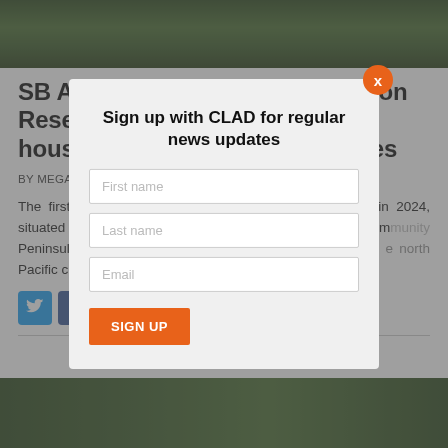[Figure (photo): Aerial or close-up view of dense green forest canopy, dark green tones]
SB Architects delivers Ritz-Carlton Reserve in Costa Rica with tree-house spa and private residences
BY MEGAN WHITBY | 21 MAR 2022
The first Ritz-Carlton location in Costa Rica will launch in 2024, situated within the 1,400-acre private club and resort community Peninsula [obscured by modal] behind the design [obscured] ing create pr[obscured] llness areas. Lo[obscured] e north Pacific co[obscured] biodivers[obscured]
[Figure (screenshot): Email sign-up modal dialog with 'Sign up with CLAD for regular news updates' heading, First name, Last name, Email fields and SIGN UP button, with orange X close button]
[Figure (photo): Bottom strip showing green forest/vegetation, partial view]